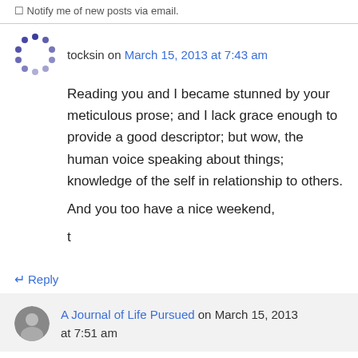☐ Notify me of new posts via email.
tocksin on March 15, 2013 at 7:43 am
Reading you and I became stunned by your meticulous prose; and I lack grace enough to provide a good descriptor; but wow, the human voice speaking about things; knowledge of the self in relationship to others.
And you too have a nice weekend,
t
↵ Reply
A Journal of Life Pursued on March 15, 2013 at 7:51 am